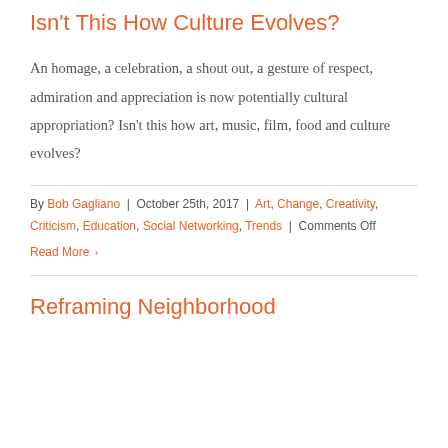Isn't This How Culture Evolves?
An homage, a celebration, a shout out, a gesture of respect, admiration and appreciation is now potentially cultural appropriation? Isn't this how art, music, film, food and culture evolves?
By Bob Gagliano | October 25th, 2017 | Art, Change, Creativity, Criticism, Education, Social Networking, Trends | Comments Off
Read More ›
Reframing Neighborhood